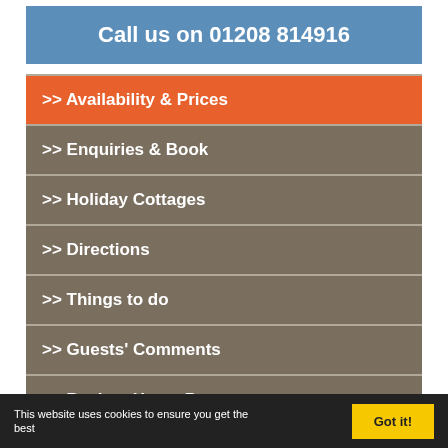Call us on 01208 814916
>> Availability & Prices
>> Enquiries & Book
>> Holiday Cottages
>> Directions
>> Things to do
>> Guests' Comments
>> Back to Home Page
>> Desktop Site
This website uses cookies to ensure you get the best
Got it!